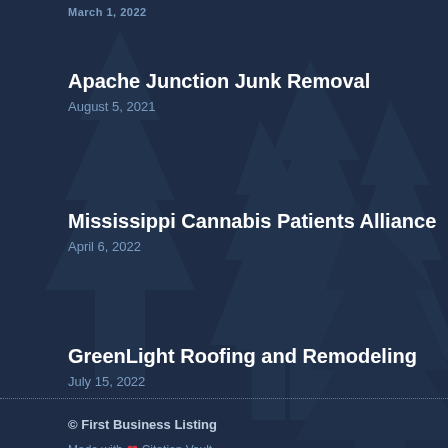March 1, 2022
Apache Junction Junk Removal
August 5, 2021
Mississippi Cannabis Patients Alliance
April 6, 2022
GreenLight Roofing and Remodeling
July 15, 2022
© First Business Listing
Made with ❤ Citation Vault